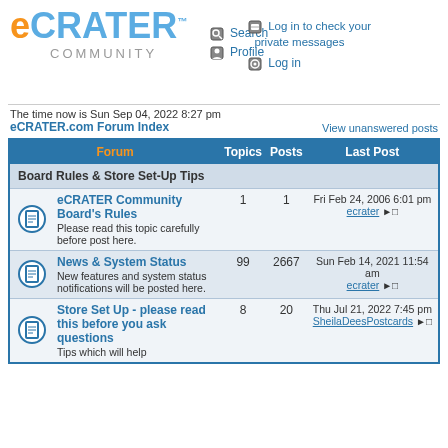eCRATER COMMUNITY
Search  Profile  Log in to check your private messages  Log in
The time now is Sun Sep 04, 2022 8:27 pm
eCRATER.com Forum Index
View unanswered posts
| Forum | Topics | Posts | Last Post |
| --- | --- | --- | --- |
| Board Rules & Store Set-Up Tips |  |  |  |
| [icon] eCRATER Community Board's Rules
Please read this topic carefully before post here. | 1 | 1 | Fri Feb 24, 2006 6:01 pm
ecrater → |
| [icon] News & System Status
New features and system status notifications will be posted here. | 99 | 2667 | Sun Feb 14, 2021 11:54 am
ecrater → |
| [icon] Store Set Up - please read this before you ask questions
Tips which will help | 8 | 20 | Thu Jul 21, 2022 7:45 pm
SheilaDeesPostcards → |